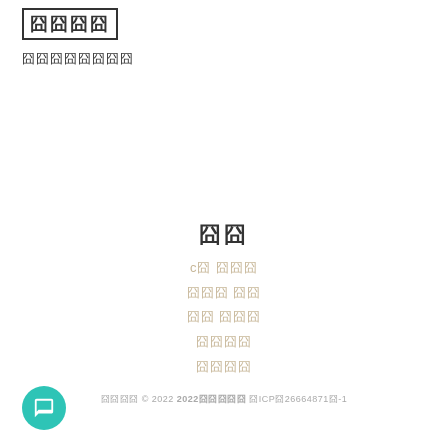囧囧囧囧
囧囧囧囧囧囧囧囧
囧囧
c囧 囧囧囧
囧囧囧 囧囧
囧囧 囧囧囧
囧囧囧囧
囧囧囧囧
囧囧囧囧 © 2022 2022囧囧囧囧囧 囧ICP囧26664871囧-1